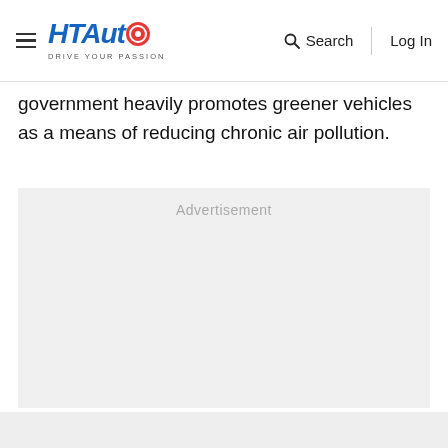HT Auto - Drive Your Passion | Search | Log In
government heavily promotes greener vehicles as a means of reducing chronic air pollution.
[Figure (other): Advertisement placeholder box with light gray background and 'Advertisement' label text centered at the top.]